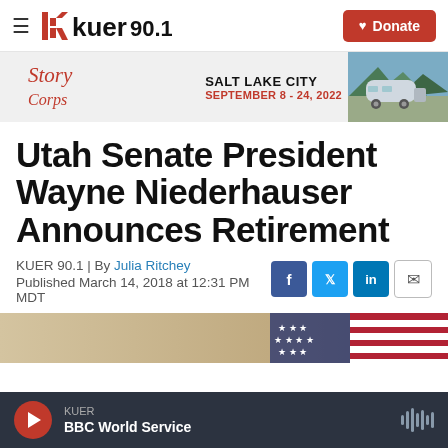KUER 90.1 — Donate
[Figure (infographic): StoryCorps banner ad: Salt Lake City, September 8-24, 2022, with an Airstream trailer photo]
Utah Senate President Wayne Niederhauser Announces Retirement
KUER 90.1 | By Julia Ritchey
Published March 14, 2018 at 12:31 PM MDT
[Figure (photo): Partial photo of an American flag with tan/beige background, bottom of article image]
KUER BBC World Service — player bar